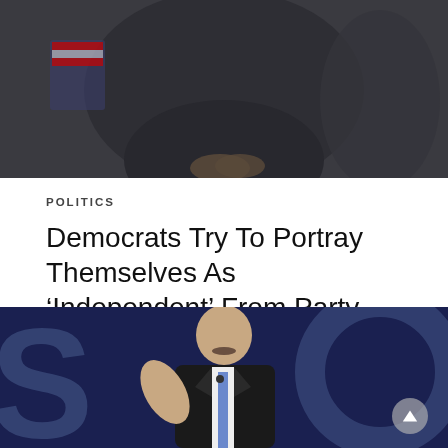[Figure (photo): Top portion of a photo showing a person in dark clothing with hands clasped, against a dark background]
POLITICS
Democrats Try To Portray Themselves As ‘Independent’ From Party, Biden In Campaign Ads
As election night 2022 gets closer, Democrats fear Americans are going to hold them responsible…
4 hours ago
[Figure (photo): Photo of a man with a mustache in a dark suit gesturing with his hand, against a blue background with large letters]